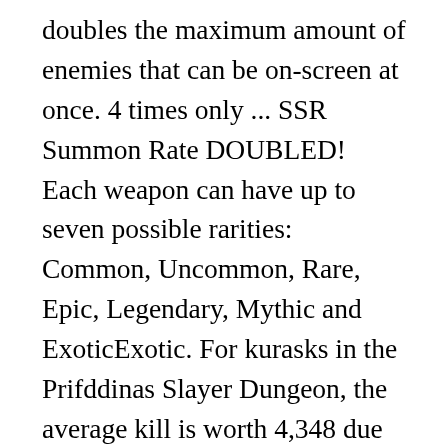doubles the maximum amount of enemies that can be on-screen at once. 4 times only ... SSR Summon Rate DOUBLED! Each weapon can have up to seven possible rarities: Common, Uncommon, Rare, Epic, Legendary, Mythic and ExoticExotic. For kurasks in the Prifddinas Slayer Dungeon, the average kill is worth 4,348 due to the additional chance of receiving a crystal shard as a tertiary drop. Watch Queue Queue Our free players can earn the game's content, and our paying players who support us with purchases usually get first dibs on the content by using Platinum (which can be traded to free players)! Drop rates for unique / rewards obtained as well as other rewards (E.g.